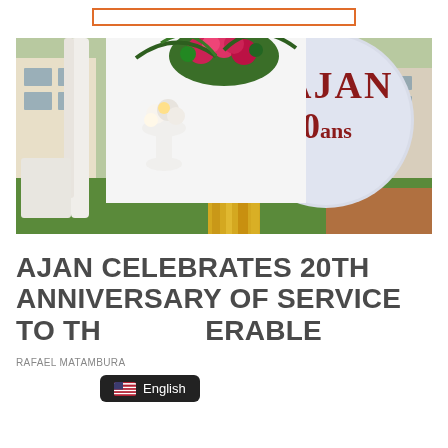[Figure (other): Orange/amber outlined rectangular box at top center, partial UI element]
[Figure (photo): Outdoor event decoration for AJAN 20th anniversary. Shows white draping fabric, floral arrangements with pink and white flowers, tall white vase with flowers, a yellow/gold curtain backdrop, and a large white circular balloon/inflatable with 'AJAN 20ans' printed in dark red letters. Green lawn and building visible in background.]
AJAN CELEBRATES 20TH ANNIVERSARY OF SERVICE TO THE VULNERABLE
English
RAFAEL MATAMBURA